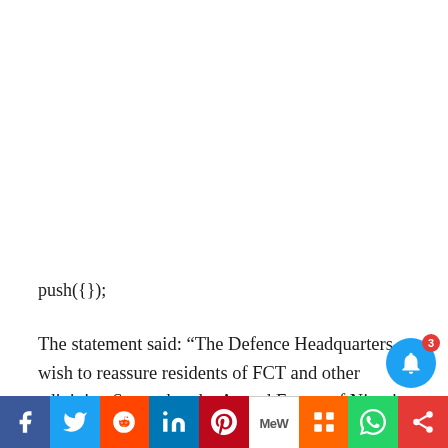push({});
The statement said: “The Defence Headquarters wish to reassure residents of FCT and other adjoining States that the Armed Forces of Nigeria and other security agencies have been on red alert to combat crime and ensure
[Figure (other): Social media share bar with icons for Facebook, Twitter, Reddit, LinkedIn, Pinterest, MeWe, Mix, WhatsApp, and a share button; also a blue notification bell with badge count of 3]